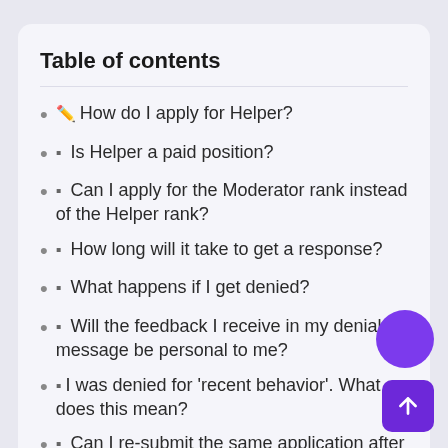Table of contents
✏ How do I apply for Helper?
▪ Is Helper a paid position?
▪ Can I apply for the Moderator rank instead of the Helper rank?
▪ How long will it take to get a response?
▪ What happens if I get denied?
▪ Will the feedback I receive in my denial message be personal to me?
▪ I was denied for 'recent behavior'. What does this mean?
▪ Can I re-submit the same application after getting denied?